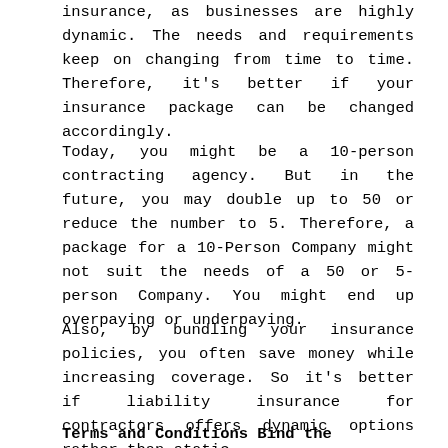insurance, as businesses are highly dynamic. The needs and requirements keep on changing from time to time. Therefore, it's better if your insurance package can be changed accordingly.
Today, you might be a 10-person contracting agency. But in the future, you may double up to 50 or reduce the number to 5. Therefore, a package for a 10-Person Company might not suit the needs of a 50 or 5-person Company. You might end up overpaying or underpaying.
Also, by bundling your insurance policies, you often save money while increasing coverage. So it's better if liability insurance for contractors offers dynamic options rather than static.
Terms and Conditions Bind the